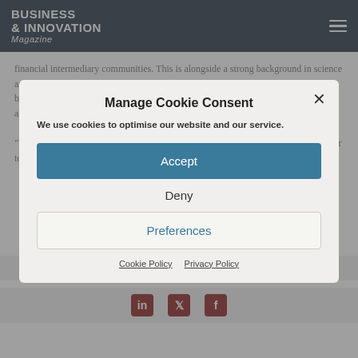BUSINESS & INNOVATION Magazine
financial intermediary communities. This is alongside a strong background in science and innovation. These are key priorities for the British Business Bank, as we look to build on the UK's reputation as a scientific superpower, driving forward innovation and the recovery in the regions.
"We would like to welcome Sophie to the team and look forward to working with her to enable small businesses to access the finance best suited to their needs."
Manage Cookie Consent
We use cookies to optimise our website and our service.
Accept
Deny
Preferences
Cookie Policy  Privacy Policy
Share This Story